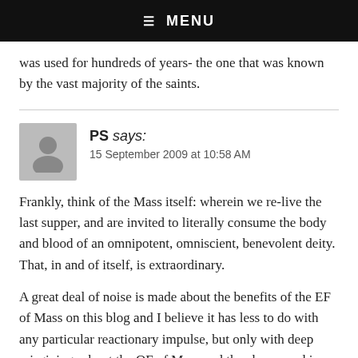☰ MENU
was used for hundreds of years- the one that was known by the vast majority of the saints.
PS says:
15 September 2009 at 10:58 AM
Frankly, think of the Mass itself: wherein we re-live the last supper, and are invited to literally consume the body and blood of an omnipotent, omniscient, benevolent deity. That, in and of itself, is extraordinary.
A great deal of noise is made about the benefits of the EF of Mass on this blog and I believe it has less to do with any particular reactionary impulse, but only with deep misgivings about the OF of Mass and the abuses and ir-reverence it